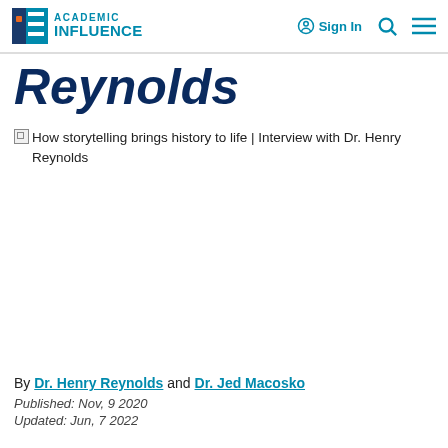Academic Influence | Sign In
Reynolds
[Figure (photo): Broken image placeholder with alt text: How storytelling brings history to life | Interview with Dr. Henry Reynolds]
By Dr. Henry Reynolds and Dr. Jed Macosko
Published: Nov, 9 2020
Updated: Jun, 7 2022